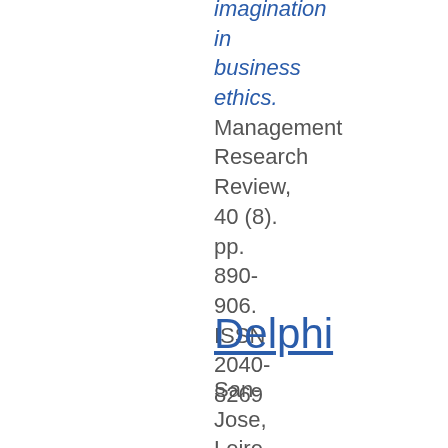imagination in business ethics. Management Research Review, 40 (8). pp. 890-906. ISSN 2040-8269
Delphi
San-Jose, Leire and